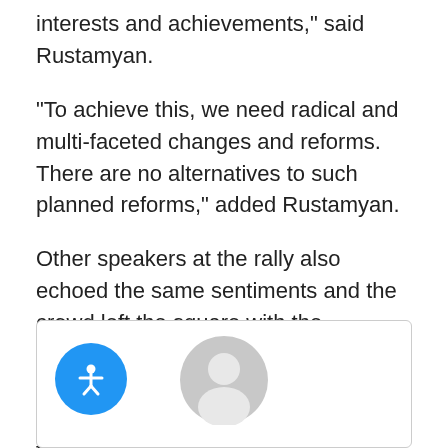interests and achievements," said Rustamyan.
“To achieve this, we need radical and multi-faceted changes and reforms. There are no alternatives to such planned reforms,” added Rustamyan.
Other speakers at the rally also echoed the same sentiments and the crowd left the square with the conviction that the ARF will continue to advance these issues and extend a hand to help the country to move forward based on its national interests and “get serious” about defending Armenia, Artsakh and the Armenian Nation.
[Figure (other): Comment/author box with accessibility button (blue circle with person icon) on the left and a grey avatar placeholder icon in the center]